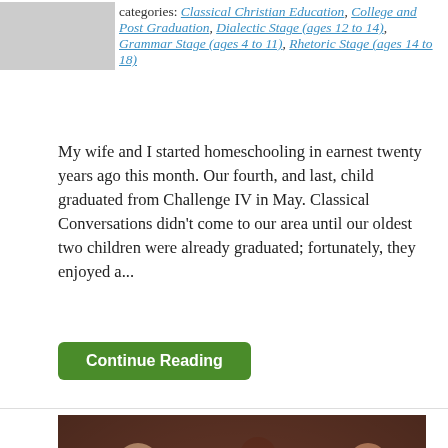categories: Classical Christian Education, College and Post Graduation, Dialectic Stage (ages 12 to 14), Grammar Stage (ages 4 to 11), Rhetoric Stage (ages 14 to 18)
My wife and I started homeschooling in earnest twenty years ago this month. Our fourth, and last, child graduated from Challenge IV in May. Classical Conversations didn't come to our area until our oldest two children were already graduated; fortunately, they enjoyed a...
Continue Reading
[Figure (photo): Photo of people sitting in wooden church pews. In the foreground, a woman with brown hair in a bun, wearing a black top with teal accent, is bending forward looking at something in her hands. Other people are visible in the background.]